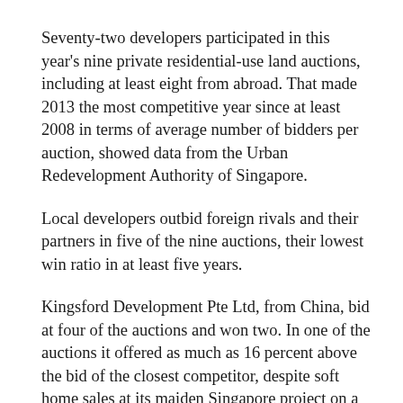Seventy-two developers participated in this year's nine private residential-use land auctions, including at least eight from abroad. That made 2013 the most competitive year since at least 2008 in terms of average number of bidders per auction, showed data from the Urban Redevelopment Authority of Singapore.
Local developers outbid foreign rivals and their partners in five of the nine auctions, their lowest win ratio in at least five years.
Kingsford Development Pte Ltd, from China, bid at four of the auctions and won two. In one of the auctions it offered as much as 16 percent above the bid of the closest competitor, despite soft home sales at its maiden Singapore project on a site purchased last year.